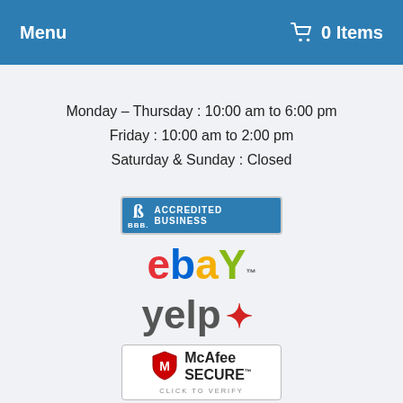Menu  0 Items
Monday – Thursday : 10:00 am to 6:00 pm
Friday : 10:00 am to 2:00 pm
Saturday & Sunday : Closed
[Figure (logo): BBB Accredited Business badge]
[Figure (logo): eBay logo]
[Figure (logo): Yelp logo]
[Figure (logo): McAfee Secure badge with 'Click to Verify' text]
QUICK LINKS